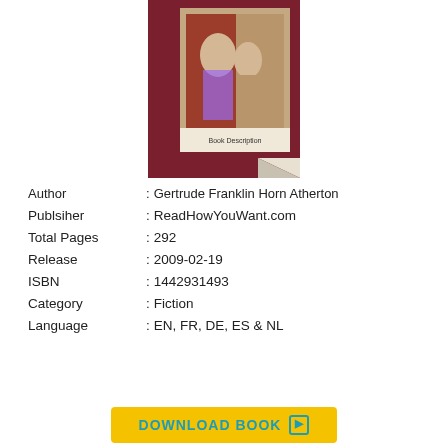[Figure (illustration): Book cover image with dark red/maroon background and a classical painting of figures, with a page-curl effect at the bottom right corner.]
Author           : Gertrude Franklin Horn Atherton
Publsiher        : ReadHowYouWant.com
Total Pages   : 292
Release          : 2009-02-19
ISBN               : 1442931493
Category       : Fiction
Language      : EN, FR, DE, ES & NL
DOWNLOAD BOOK